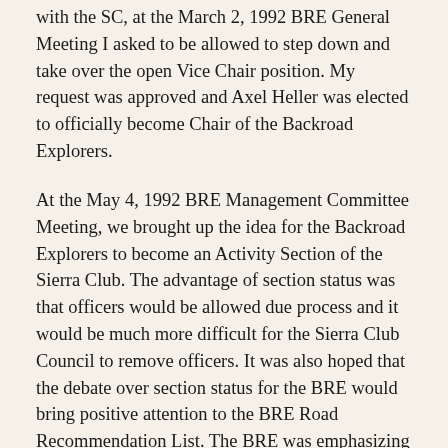with the SC, at the March 2, 1992 BRE General Meeting I asked to be allowed to step down and take over the open Vice Chair position. My request was approved and Axel Heller was elected to officially become Chair of the Backroad Explorers.
At the May 4, 1992 BRE Management Committee Meeting, we brought up the idea for the Backroad Explorers to become an Activity Section of the Sierra Club. The advantage of section status was that officers would be allowed due process and it would be much more difficult for the Sierra Club Council to remove officers. It was also hoped that the debate over section status for the BRE would bring positive attention to the BRE Road Recommendation List. The BRE was emphasizing the fact that they supported desert protection and wanted the Desert Bill to be refined so they could be whole heartedly supportive of it. The BRE Section Bylaw Committee was formed and I was elected Chair. Also on the committee were Tom Church, Anne Stoll and Betty Wallin. On November 19, 1992 the Bylaw Committee completed their task and had the Backroad Explorers Activity Section Bylaws ready to be submitted to the Sierra Club Council. Axel Heller presented our Bylaws to Bob Marshal (current SC Conservation Chair), but by the next Council meeting Bob Marshall was unable to find our Bylaws to submit. It